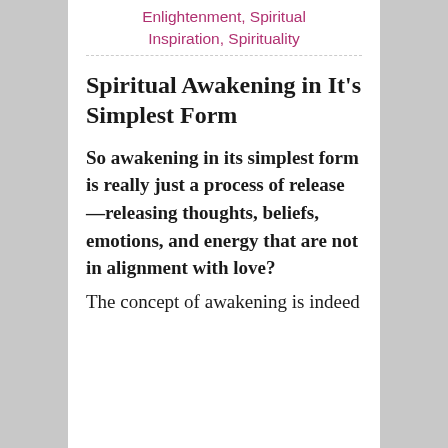Enlightenment, Spiritual Inspiration, Spirituality
Spiritual Awakening in It's Simplest Form
So awakening in its simplest form is really just a process of release—releasing thoughts, beliefs, emotions, and energy that are not in alignment with love?
The concept of awakening is indeed